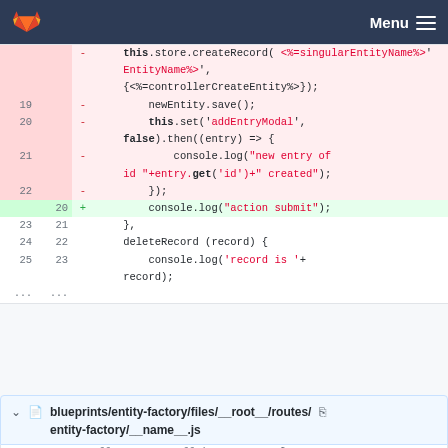Menu
[Figure (screenshot): Code diff view showing deleted lines (19-22) with this.store.createRecord, newEntity.save(), this.set('addEntryModal', false).then((entry) => { console.log("new entry of id "+entry.get('id')+" created"); }); and added line (20) console.log("action submit"); followed by normal lines 21-23 with },  deleteRecord(record) { and console.log('record is '+record);]
blueprints/entity-factory/files/__root__/routes/entity-factory/__name__.js
@@ -2,7 +2,13 @@ import Route from '@ember/routing/route';